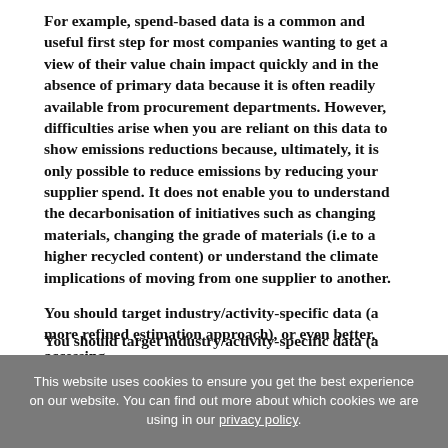For example, spend-based data is a common and useful first step for most companies wanting to get a view of their value chain impact quickly and in the absence of primary data because it is often readily available from procurement departments. However, difficulties arise when you are reliant on this data to show emissions reductions because, ultimately, it is only possible to reduce emissions by reducing your supplier spend. It does not enable you to understand the decarbonisation of initiatives such as changing materials, changing the grade of materials (i.e to a higher recycled content) or understand the climate implications of moving from one supplier to another.
You should target industry/activity-specific data (a more refined estimation approach), or even better, accessing primary data from your suppliers, facilitating a more...
This website uses cookies to ensure you get the best experience on our website. You can find out more about which cookies we are using in our privacy policy.